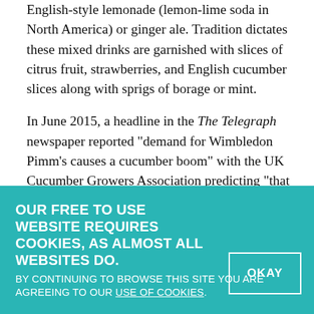English-style lemonade (lemon-lime soda in North America) or ginger ale. Tradition dictates these mixed drinks are garnished with slices of citrus fruit, strawberries, and English cucumber slices along with sprigs of borage or mint.
In June 2015, a headline in the The Telegraph newspaper reported "demand for Wimbledon Pimm's causes a cucumber boom" with the UK Cucumber Growers Association predicting "that more than seven million cucumbers will be needed to meet the demand for Pimm's this summer."
In England, the first rays of summer sun signal the start
OUR FREE TO USE WEBSITE REQUIRES COOKIES, AS ALMOST ALL WEBSITES DO. BY CONTINUING TO BROWSE THIS SITE YOU ARE AGREEING TO OUR USE OF COOKIES.